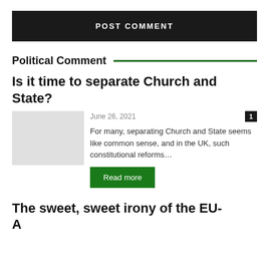POST COMMENT
Political Comment
Is it time to separate Church and State?
June 26, 2021
For many, separating Church and State seems like common sense, and in the UK, such constitutional reforms...
Read more
The sweet, sweet irony of the EU-